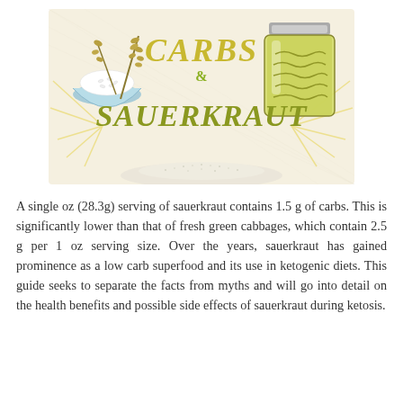[Figure (illustration): Illustrated banner reading 'CARBS & SAUERKRAUT' in olive/yellow-green hand-lettered style, with drawings of a bowl of rice with wheat stalks and a jar of sauerkraut, on a linen-textured cream background with radiating lines and a mound of salt/powder at the bottom.]
A single oz (28.3g) serving of sauerkraut contains 1.5 g of carbs. This is significantly lower than that of fresh green cabbages, which contain 2.5 g per 1 oz serving size. Over the years, sauerkraut has gained prominence as a low carb superfood and its use in ketogenic diets. This guide seeks to separate the facts from myths and will go into detail on the health benefits and possible side effects of sauerkraut during ketosis.